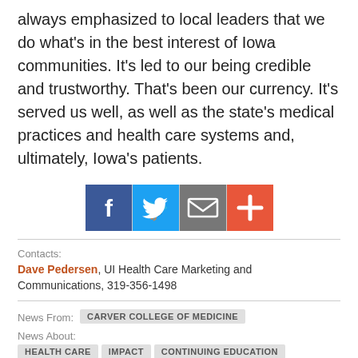always emphasized to local leaders that we do what's in the best interest of Iowa communities. It's led to our being credible and trustworthy. That's been our currency. It's served us well, as well as the state's medical practices and health care systems and, ultimately, Iowa's patients.
[Figure (infographic): Row of four social media sharing icons: Facebook (dark blue), Twitter (light blue), Email/envelope (gray), and Add/plus (orange-red), separated by vertical dividers.]
Contacts:
Dave Pedersen, UI Health Care Marketing and Communications, 319-356-1498
News From: CARVER COLLEGE OF MEDICINE
News About: HEALTH CARE  IMPACT  CONTINUING EDUCATION  ACHIEVEMENTS  FACULTY  STAFF
Keywords: